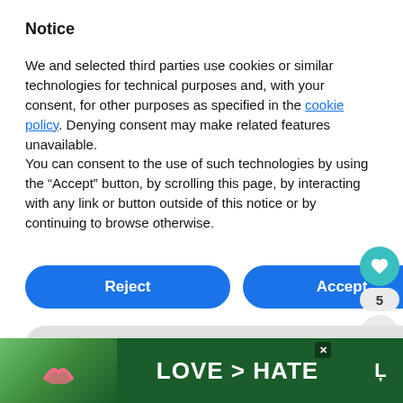Notice
We and selected third parties use cookies or similar technologies for technical purposes and, with your consent, for other purposes as specified in the cookie policy. Denying consent may make related features unavailable.
You can consent to the use of such technologies by using the “Accept” button, by scrolling this page, by interacting with any link or button outside of this notice or by continuing to browse otherwise.
Reject
Accept
Learn more and customize
World Nomads for travel insura...
Hostelworld for booking hostels
[Figure (other): Advertisement banner with LOVE > HATE text and heart-hands image]